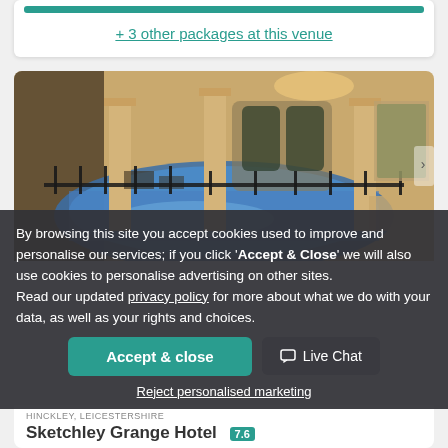+ 3 other packages at this venue
[Figure (photo): Indoor swimming pool at a hotel spa, with curved pool edge, decorative columns, warm lighting and painted wall murals]
By browsing this site you accept cookies used to improve and personalise our services; if you click 'Accept & Close' we will also use cookies to personalise advertising on other sites. Read our updated privacy policy for more about what we do with your data, as well as your rights and choices.
Accept & close
Live Chat
Reject personalised marketing
HINCKLEY, LEICESTERSHIRE
Sketchley Grange Hotel  7.6